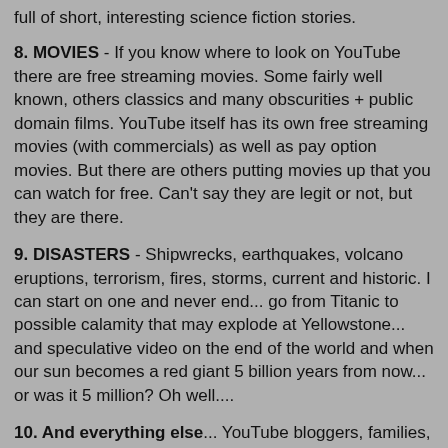full of short, interesting science fiction stories.
8. MOVIES - If you know where to look on YouTube there are free streaming movies. Some fairly well known, others classics and many obscurities + public domain films. YouTube itself has its own free streaming movies (with commercials) as well as pay option movies. But there are others putting movies up that you can watch for free. Can't say they are legit or not, but they are there.
9. DISASTERS - Shipwrecks, earthquakes, volcano eruptions, terrorism, fires, storms, current and historic. I can start on one and never end... go from Titanic to possible calamity that may explode at Yellowstone... and speculative video on the end of the world and when our sun becomes a red giant 5 billion years from now... or was it 5 million? Oh well....
10. And everything else... YouTube bloggers, families, wildlife, animals, cats, dogs, car crashes, Hawaii, stupidity, you name it... it's there. YouTube!